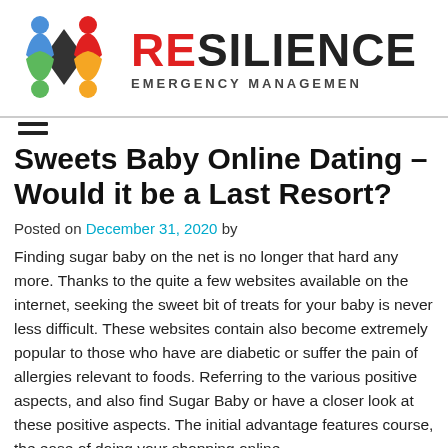RESILIENCE EMERGENCY MANAGEMENT
Sweets Baby Online Dating – Would it be a Last Resort?
Posted on December 31, 2020 by
Finding sugar baby on the net is no longer that hard any more. Thanks to the quite a few websites available on the internet, seeking the sweet bit of treats for your baby is never less difficult. These websites contain also become extremely popular to those who have are diabetic or suffer the pain of allergies relevant to foods. Referring to the various positive aspects, and also find Sugar Baby or have a closer look at these positive aspects. The initial advantage features course, the ease of doing your shopping online